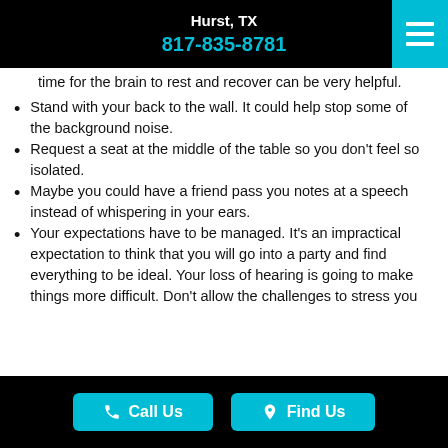Hurst, TX
817-835-8781
time for the brain to rest and recover can be very helpful.
Stand with your back to the wall. It could help stop some of the background noise.
Request a seat at the middle of the table so you don't feel so isolated.
Maybe you could have a friend pass you notes at a speech instead of whispering in your ears.
Your expectations have to be managed. It's an impractical expectation to think that you will go into a party and find everything to be ideal. Your loss of hearing is going to make things more difficult. Don't allow the challenges to stress you
Call Us    Find Us